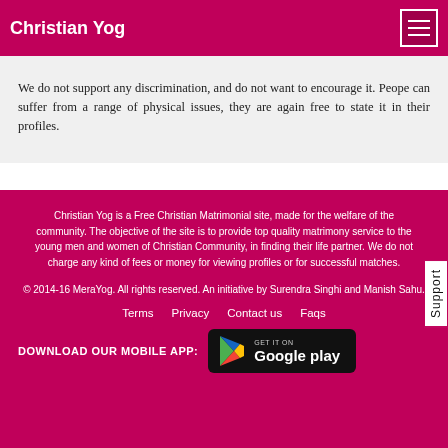Christian Yog
We do not support any discrimination, and do not want to encourage it. Peope can suffer from a range of physical issues, they are again free to state it in their profiles.
Christian Yog is a Free Christian Matrimonial site, made for the welfare of the community. The objective of the site is to provide top quality matrimony service to the young men and women of Christian Community, in finding their life partner. We do not charge any kind of fees or money for viewing profiles or for successful matches.
© 2014-16 MeraYog. All rights reserved. An initiative by Surendra Singhi and Manish Sahu.
Terms   Privacy   Contact us   Faqs
DOWNLOAD OUR MOBILE APP:
[Figure (logo): Google Play store badge with 'GET IT ON Google play' text and triangular play icon on black background]